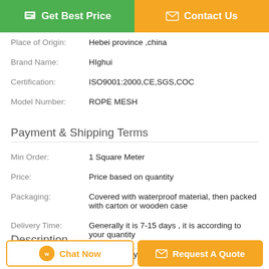Get Best Price | Contact Us
| Place of Origin: | Hebei province ,china |
| Brand Name: | HIghui |
| Certification: | ISO9001:2000,CE,SGS,COC |
| Model Number: | ROPE MESH |
Payment & Shipping Terms
| Min Order: | 1 Square Meter |
| Price: | Price based on quantity |
| Packaging: | Covered with waterproof material, then packed with carton or wooden case |
| Delivery Time: | Generally it is 7-15 days , it is according to your quantity |
| Payment Terms: | L/C&TT& paypal |
| Supply Ability: | 30000 Square Meter per Month |
Description
Chat Now | Request A Quote